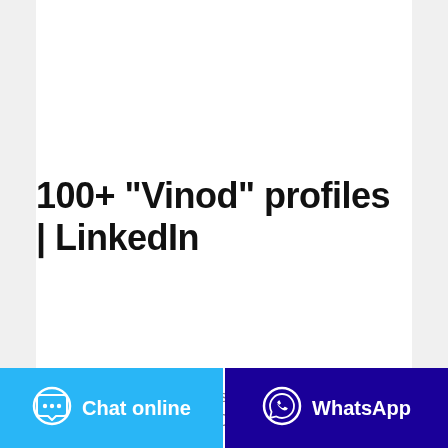[Figure (photo): Promotional image showing a person and product, partially visible, appearing upside-down style with green botanical elements and text reading 'Miductic' / 'orchid' visible]
100+ "Vinod" profiles | LinkedIn
View the profiles of professionals named "Vinod" on LinkedIn. There are 100+ professionals named "Vinod", who use LinkedIn to exchange information, ideas, and opportunities.
[Figure (other): Chat online button with speech bubble icon on cyan/light-blue background]
[Figure (other): WhatsApp button with WhatsApp phone icon on dark blue/indigo background]